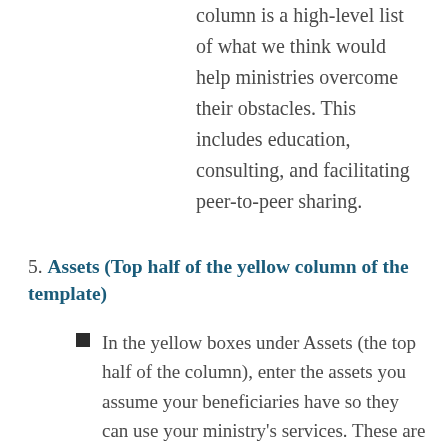column is a high-level list of what we think would help ministries overcome their obstacles. This includes education, consulting, and facilitating peer-to-peer sharing.
5. Assets (Top half of the yellow column of the template)
In the yellow boxes under Assets (the top half of the column), enter the assets you assume your beneficiaries have so they can use your ministry's services. These are likely to be unstated